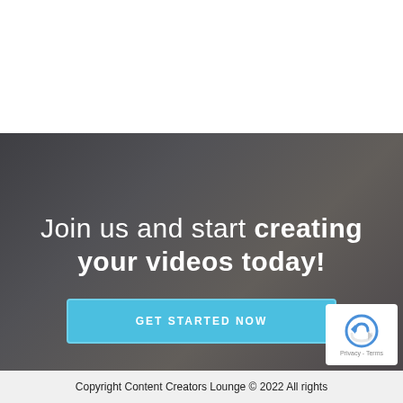[Figure (photo): Dark background showing hands typing on a laptop keyboard, used as a website section background with overlay]
Join us and start creating your videos today!
GET STARTED NOW
Copyright Content Creators Lounge © 2022 All rights